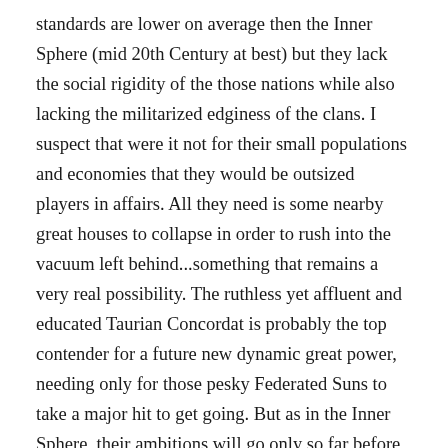standards are lower on average then the Inner Sphere (mid 20th Century at best) but they lack the social rigidity of the those nations while also lacking the militarized edginess of the clans. I suspect that were it not for their small populations and economies that they would be outsized players in affairs. All they need is some nearby great houses to collapse in order to rush into the vacuum left behind...something that remains a very real possibility. The ruthless yet affluent and educated Taurian Concordat is probably the top contender for a future new dynamic great power, needing only for those pesky Federated Suns to take a major hit to get going. But as in the Inner Sphere, their ambitions will go only so far before the periphery gets locked in and counter-balancing coalitions clip its wings before it gets too big. Still, in my personal opinion, a refocusing on the periphery for future events would be a